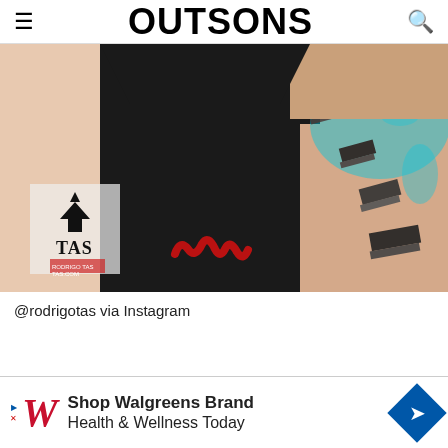OUTSONS
[Figure (photo): Tattoo photo collage showing arms with tattoos: a TAS crown logo tattoo, a red jagged scar-like tattoo, and a blue geometric piano keys tattoo on a torso]
@rodrigotas via Instagram
[Figure (infographic): Walgreens advertisement banner: Shop Walgreens Brand Health & Wellness Today]